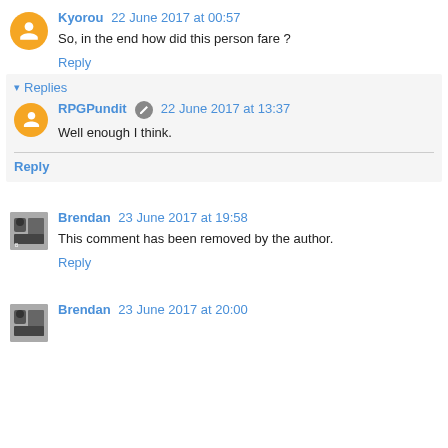Kyorou  22 June 2017 at 00:57
So, in the end how did this person fare ?
Reply
Replies
RPGPundit  22 June 2017 at 13:37
Well enough I think.
Reply
Brendan  23 June 2017 at 19:58
This comment has been removed by the author.
Reply
Brendan  23 June 2017 at 20:00